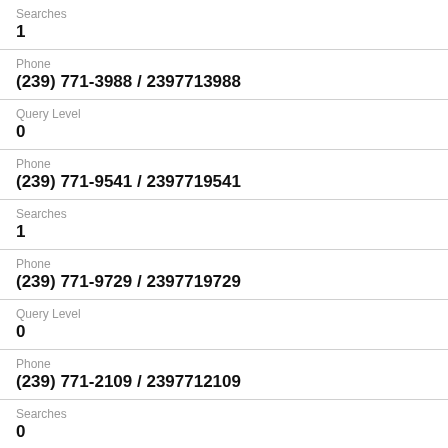Searches
1
Phone
(239) 771-3988 / 2397713988
Query Level
0
Phone
(239) 771-9541 / 2397719541
Searches
1
Phone
(239) 771-9729 / 2397719729
Query Level
0
Phone
(239) 771-2109 / 2397712109
Searches
0